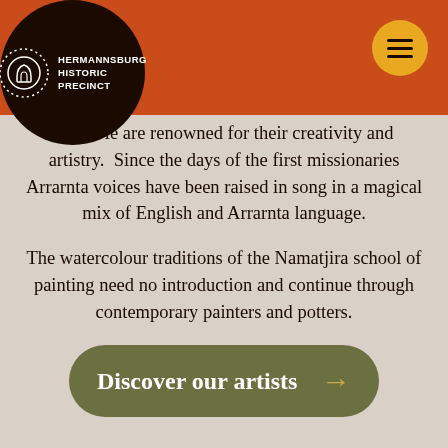HERMANNSBURG HISTORIC PRECINCT
Arrarnta people are renowned for their creativity and artistry.  Since the days of the first missionaries Arrarnta voices have been raised in song in a magical mix of English and Arrarnta language.
The watercolour traditions of the Namatjira school of painting need no introduction and continue through contemporary painters and potters.
[Figure (other): Call-to-action button with olive/khaki rounded rectangle shape, white bold text 'Discover our artists' and a tan/gold arrow pointing right]